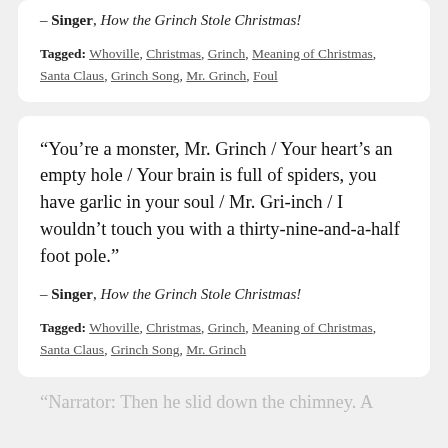– Singer, How the Grinch Stole Christmas!
Tagged: Whoville, Christmas, Grinch, Meaning of Christmas, Santa Claus, Grinch Song, Mr. Grinch, Foul
“You’re a monster, Mr. Grinch / Your heart’s an empty hole / Your brain is full of spiders, you have garlic in your soul / Mr. Gri-inch / I wouldn’t touch you with a thirty-nine-and-a-half foot pole.”
– Singer, How the Grinch Stole Christmas!
Tagged: Whoville, Christmas, Grinch, Meaning of Christmas, Santa Claus, Grinch Song, Mr. Grinch
“Narrator: Then he slid down the chimney. A